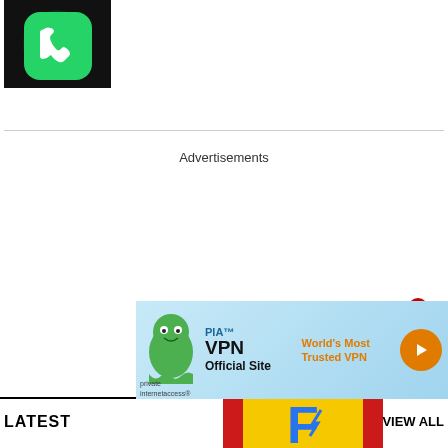[Figure (photo): WhatsApp logo icon glowing green on dark background]
Advertisements
[Figure (photo): Digit Flipkart shopping bag box advertisement with yellow bag and blue Flipkart logo on red box, with close button]
[Figure (advertisement): PIA VPN banner ad - World's Most Trusted VPN with orange arrow button and green mascot character]
LATEST
VIEW ALL